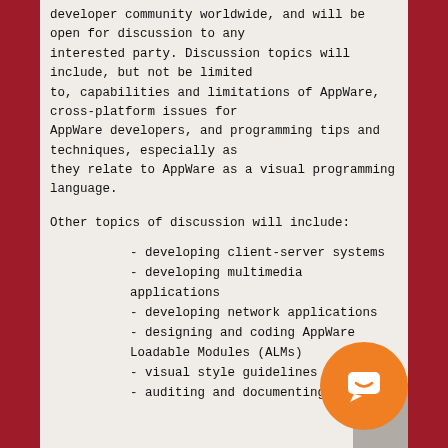developer community worldwide, and will be open for discussion to any interested party. Discussion topics will include, but not be limited to, capabilities and limitations of AppWare, cross-platform issues for AppWare developers, and programming tips and techniques, especially as they relate to AppWare as a visual programming language.
Other topics of discussion will include:
- developing client-server systems
- developing multimedia applications
- developing network applications
- designing and coding AppWare Loadable Modules (ALMs)
- visual style guidelines
- auditing and documenting AppWare